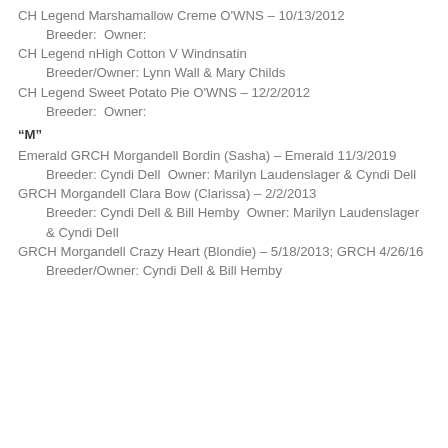CH Legend Marshamallow Creme O'WNS – 10/13/2012
    Breeder:  Owner:
CH Legend nHigh Cotton V Windnsatin
    Breeder/Owner: Lynn Wall & Mary Childs
CH Legend Sweet Potato Pie O'WNS – 12/2/2012
    Breeder:  Owner:
"M"
Emerald GRCH Morgandell Bordin (Sasha) – Emerald 11/3/2019
    Breeder: Cyndi Dell  Owner: Marilyn Laudenslager & Cyndi Dell
GRCH Morgandell Clara Bow (Clarissa) – 2/2/2013
    Breeder: Cyndi Dell & Bill Hemby  Owner: Marilyn Laudenslager
    & Cyndi Dell
GRCH Morgandell Crazy Heart (Blondie) – 5/18/2013; GRCH 4/26/16
    Breeder/Owner: Cyndi Dell & Bill Hemby